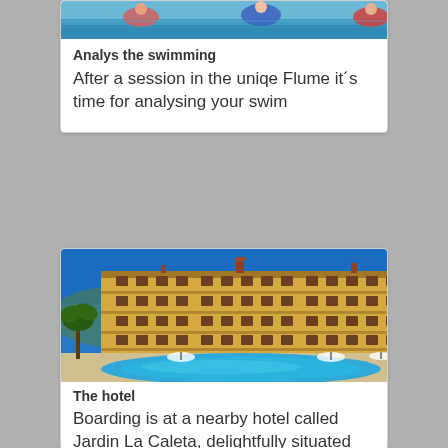[Figure (photo): Photo of swimming session, people in pool]
Analys the swimming
After a session in the uniqe Flume it´s time for analysing your swim
[Figure (photo): Hotel Jardin La Caleta with swimming pool in foreground, large yellow multi-storey building under blue sky with palm trees]
The hotel
Boarding is at a nearby hotel called Jardin La Caleta, delightfully situated about 40 meters from